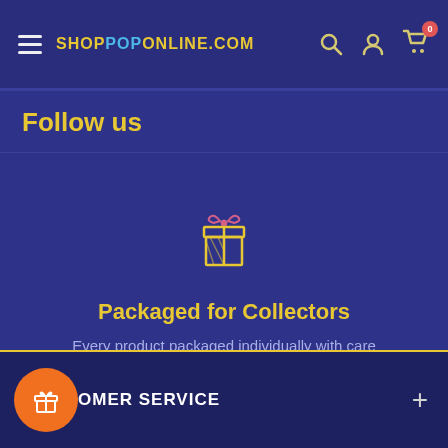ShopPopOnline.com navigation bar with hamburger menu, logo, search, account, and cart icons
Follow us
[Figure (illustration): Gift box icon in yellow/gold outline style on dark blue background]
Packaged for Collectors
Every product packaged individually with care
[Figure (infographic): Four dot carousel indicators, first dot highlighted in yellow]
CUSTOMER SERVICE +